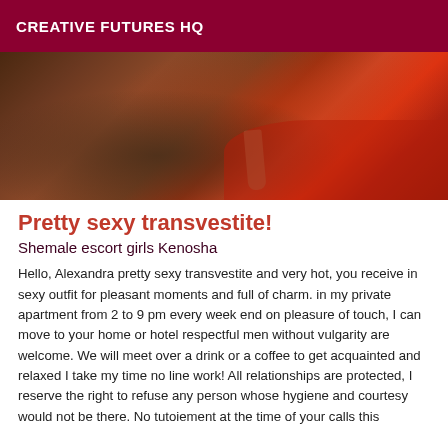CREATIVE FUTURES HQ
[Figure (photo): A photo showing a wooden floor with a high heel shoe and red fabric/clothing visible at the edge]
Pretty sexy transvestite!
Shemale escort girls Kenosha
Hello, Alexandra pretty sexy transvestite and very hot, you receive in sexy outfit for pleasant moments and full of charm. in my private apartment from 2 to 9 pm every week end on pleasure of touch, I can move to your home or hotel respectful men without vulgarity are welcome. We will meet over a drink or a coffee to get acquainted and relaxed I take my time no line work! All relationships are protected, I reserve the right to refuse any person whose hygiene and courtesy would not be there. No tutoiement at the time of your calls this